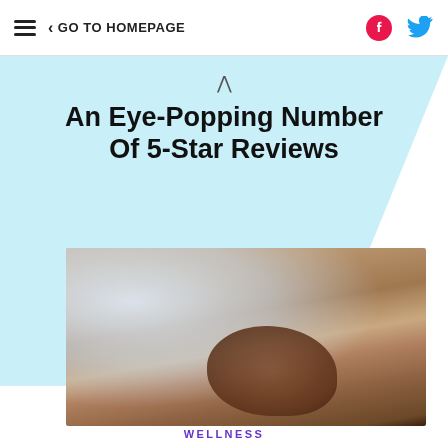☰  < GO TO HOMEPAGE
An Eye-Popping Number Of 5-Star Reviews
[Figure (photo): Person in a beige/tan knitted cardigan with hands crossed over chest, standing near a window with soft natural light]
WELLNESS